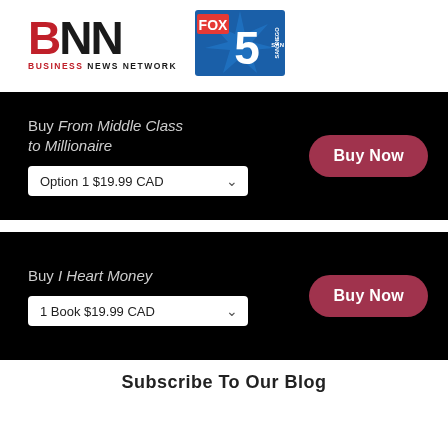[Figure (logo): BNN Business News Network logo and FOX 5 San Diego logo side by side]
Buy From Middle Class to Millionaire
Option 1 $19.99 CAD
Buy Now
Buy I Heart Money
1 Book $19.99 CAD
Buy Now
Subscribe To Our Blog